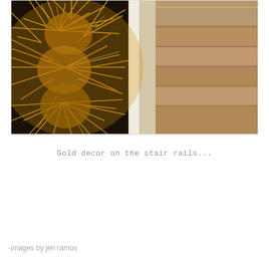[Figure (photo): Close-up photograph of gold tinsel/garland decoration on a stair railing. The left side shows shiny golden spiky tinsel in close-up detail, while the right side shows carpeted stairs with tan/beige carpet and white banister in the background.]
Gold decor on the stair rails...
-images by jen ramos